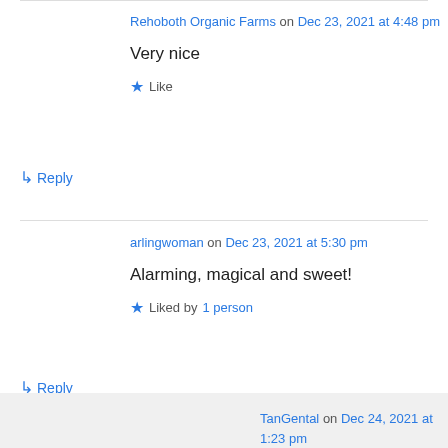Rehoboth Organic Farms on Dec 23, 2021 at 4:48 pm
Very nice
★ Like
↳ Reply
arlingwoman on Dec 23, 2021 at 5:30 pm
Alarming, magical and sweet!
★ Liked by 1 person
↳ Reply
TanGental on Dec 24, 2021 at 1:23 pm